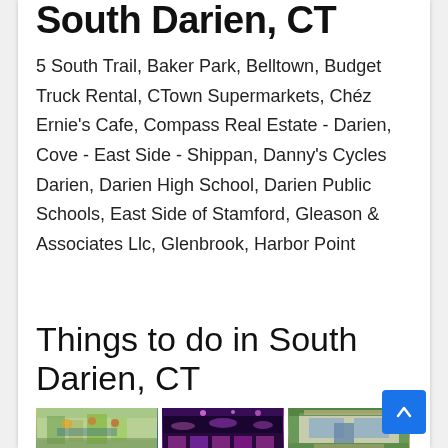South Darien, CT
5 South Trail, Baker Park, Belltown, Budget Truck Rental, CTown Supermarkets, Chéz Ernie's Cafe, Compass Real Estate - Darien, Cove - East Side - Shippan, Danny's Cycles Darien, Darien High School, Darien Public Schools, East Side of Stamford, Gleason & Associates Llc, Glenbrook, Harbor Point
Things to do in South Darien, CT
[Figure (photo): Three thumbnail photos showing local places in South Darien, CT: a grocery store interior, a bowling alley with purple lighting, and a storefront exterior]